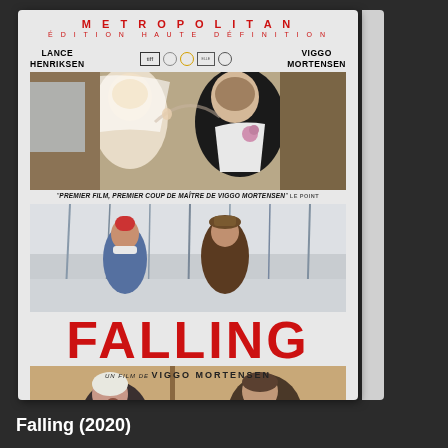[Figure (photo): DVD/Blu-ray cover for the film 'Falling' (2020) directed by Viggo Mortensen. Metropolitan Édition Haute Définition. Stars Lance Henriksen and Viggo Mortensen. Three film stills: a wedding couple, two figures in a snowy forest, and a confrontation between two men. Large red title 'FALLING' across the center. Quote: 'PREMIER FILM, PREMIER COUP DE MAÎTRE DE VIGGO MORTENSEN' LE POINT. Credit: UN FILM DE VIGGO MORTENSEN.]
Falling (2020)